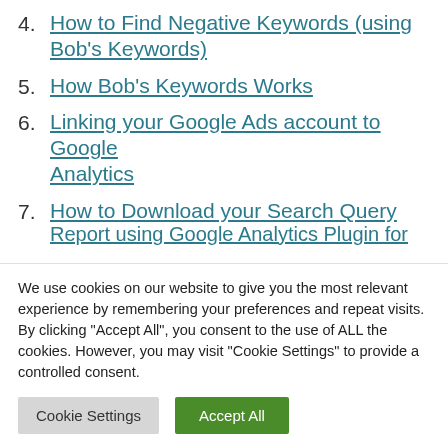4. How to Find Negative Keywords (using Bob's Keywords)
5. How Bob's Keywords Works
6. Linking your Google Ads account to Google Analytics
7. How to Download your Search Query Report using Google Analytics Plugin for
We use cookies on our website to give you the most relevant experience by remembering your preferences and repeat visits. By clicking "Accept All", you consent to the use of ALL the cookies. However, you may visit "Cookie Settings" to provide a controlled consent.